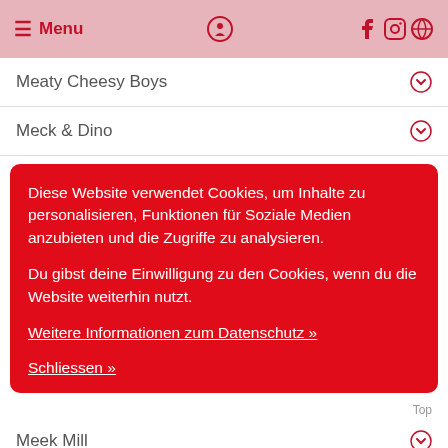≡ Menu
Meaty Cheesy Boys
Meck & Dino
Diese Website verwendet Cookies, um Inhalte zu personalisieren, Funktionen für Soziale Medien anzubieten und die Zugriffe zu analysieren.

Du gibst deine Einwilligung zu den Cookies, wenn du die Website weiterhin nutzt.

Weitere Informationen zum Datenschutz »

Schliessen »
Meek Mill
Meek Mill & Drake